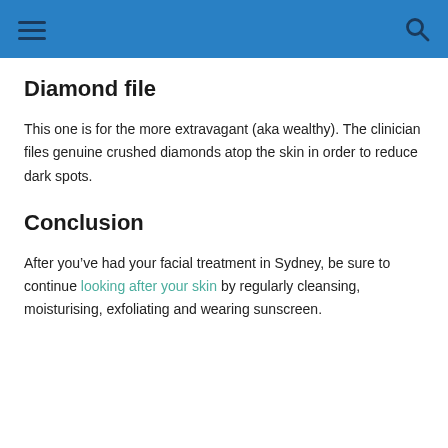Diamond file
This one is for the more extravagant (aka wealthy). The clinician files genuine crushed diamonds atop the skin in order to reduce dark spots.
Conclusion
After you’ve had your facial treatment in Sydney, be sure to continue looking after your skin by regularly cleansing, moisturising, exfoliating and wearing sunscreen.